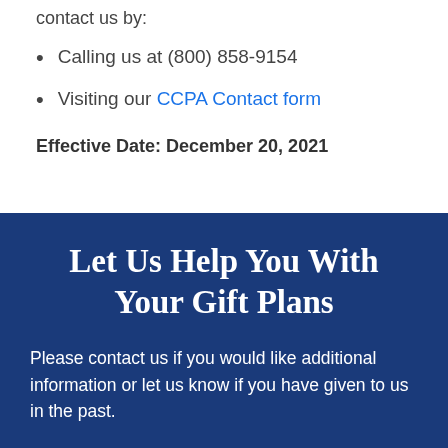contact us by:
Calling us at (800) 858-9154
Visiting our CCPA Contact form
Effective Date: December 20, 2021
Let Us Help You With Your Gift Plans
Please contact us if you would like additional information or let us know if you have given to us in the past.